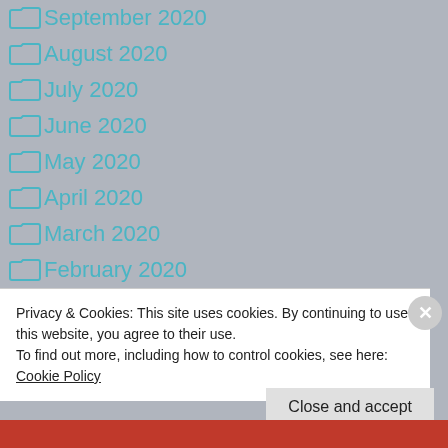September 2020
August 2020
July 2020
June 2020
May 2020
April 2020
March 2020
February 2020
January 2020
December 2019
Privacy & Cookies: This site uses cookies. By continuing to use this website, you agree to their use. To find out more, including how to control cookies, see here: Cookie Policy
Close and accept